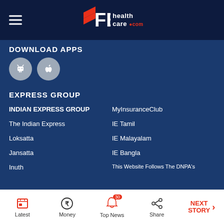[Figure (logo): FE Healthcare logo with navigation header and hamburger menu]
DOWNLOAD APPS
[Figure (illustration): Android and Apple app download icons]
EXPRESS GROUP
INDIAN EXPRESS GROUP
MyInsuranceClub
The Indian Express
IE Tamil
Loksatta
IE Malayalam
Jansatta
IE Bangla
Inuth
This Website Follows The DNPA's Code Of Conduct
Latest | Money | Top News (30) | Share | NEXT STORY